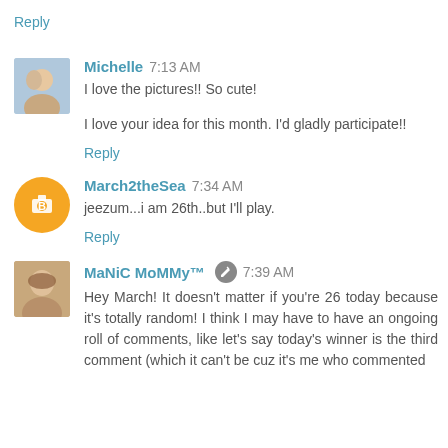Reply
Michelle  7:13 AM
I love the pictures!! So cute!
I love your idea for this month. I'd gladly participate!!
Reply
March2theSea  7:34 AM
jeezum...i am 26th..but I'll play.
Reply
MaNiC MoMMy™  7:39 AM
Hey March! It doesn't matter if you're 26 today because it's totally random! I think I may have to have an ongoing roll of comments, like let's say today's winner is the third comment (which it can't be cuz it's me who commented